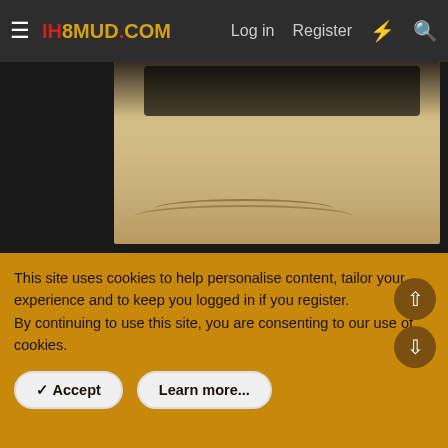IH8MUD.COM — Log in | Register
[Figure (photo): Photo of a vehicle (underside/shadow visible) on sandy desert terrain with tire tracks]
Aug 20, 2022
landcruisnman replied to the thread Builds Resto-mod on my 55 has begun.
Well. Tranny all redone again and going back in. My buddy with driveline shop let us use his lift after he re-geared my pig with 4.88s and put the ARB lockers in. Here she is full droop
This site uses cookies to help personalise content, tailor your experience and to keep you logged in if you register.
By continuing to use this site, you are consenting to our use of cookies.
✓ Accept
Learn more...